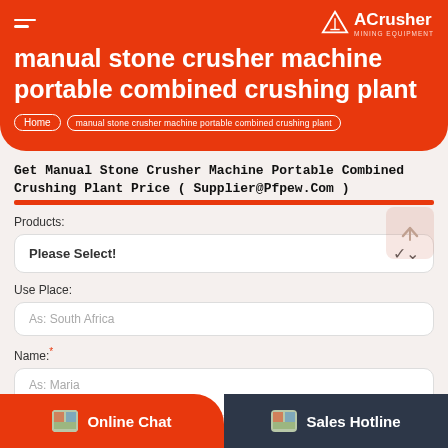ACrusher
manual stone crusher machine portable combined crushing plant
Home > manual stone crusher machine portable combined crushing plant
Get Manual Stone Crusher Machine Portable Combined Crushing Plant Price ( Supplier@Pfpew.Com )
Products:
Please Select!
Use Place:
As: South Africa
Name:*
As: Maria
Online Chat   Sales Hotline